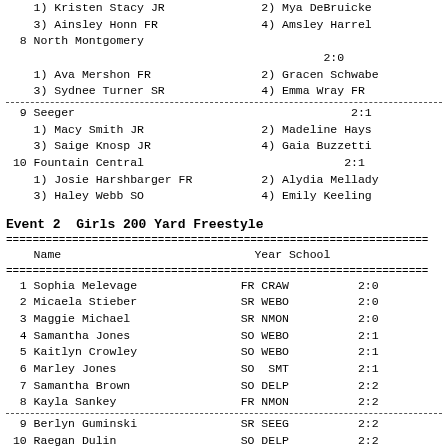1) Kristen Stacy JR    2) Mya DeBruicker
3) Ainsley Honn FR     4) Amsley Harrell
8 North Montgomery                     2:0
1) Ava Mershon FR      2) Gracen Schwabe
3) Sydnee Turner SR    4) Emma Wray FR
9 Seeger                               2:1
1) Macy Smith JR       2) Madeline Hays
3) Saige Knosp JR      4) Gaia Buzzetti
10 Fountain Central                    2:1
1) Josie Harshbarger FR  2) Alydia Mellady
3) Haley Webb SO         4) Emily Keeling
Event 2  Girls 200 Yard Freestyle
|  | Name | Year | School |  |
| --- | --- | --- | --- | --- |
| 1 | Sophia Melevage | FR | CRAW | 2:0 |
| 2 | Micaela Stieber | SR | WEBO | 2:0 |
| 3 | Maggie Michael | SR | NMON | 2:0 |
| 4 | Samantha Jones | SO | WEBO | 2:1 |
| 5 | Kaitlyn Crowley | SO | WEBO | 2:1 |
| 6 | Marley Jones | SO | SMT | 2:1 |
| 7 | Samantha Brown | SO | DELP | 2:2 |
| 8 | Kayla Sankey | FR | NMON | 2:2 |
| 9 | Berlyn Guminski | SR | SEEG | 2:2 |
| 10 | Raegan Dulin | SO | DELP | 2:2 |
| 11 | Meredith Rosswurm | FR | ATTC | 2:2 |
| 12 | Saige Knosp | JR | SEEG | 2:2 |
| 13 |  | JR | SMT | 2: |